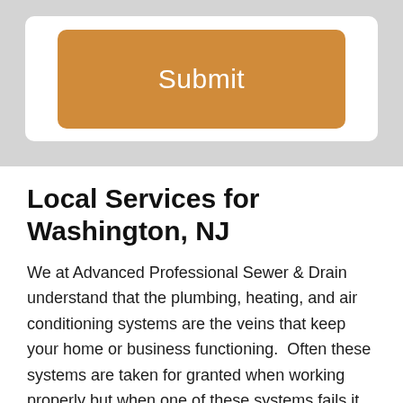[Figure (screenshot): A light gray form area containing a white rounded card with an orange rounded 'Submit' button centered inside it.]
Local Services for Washington, NJ
We at Advanced Professional Sewer & Drain understand that the plumbing, heating, and air conditioning systems are the veins that keep your home or business functioning.  Often these systems are taken for granted when working properly but when one of these systems fails it can be quite distressing. That is why we are here and at your service both licensed and insured because we have your protection in mind.  All of our employees are thoroughly background checked and highly trained in